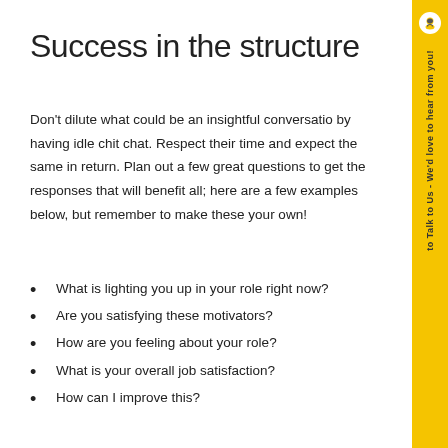Success in the structure
Don't dilute what could be an insightful conversation by having idle chit chat. Respect their time and expect the same in return. Plan out a few great questions to get the responses that will benefit all; here are a few examples below, but remember to make these your own!
What is lighting you up in your role right now?
Are you satisfying these motivators?
How are you feeling about your role?
What is your overall job satisfaction?
How can I improve this?